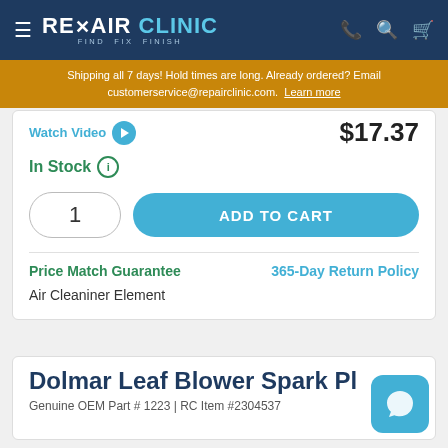REPAIR CLINIC — FIND. FIX. FINISH.
Shipping all 7 days! Hold times are long. Already ordered? Email customerservice@repairclinic.com. Learn more
Watch Video  $17.37
In Stock
1   ADD TO CART
Price Match Guarantee   365-Day Return Policy
Air Cleaniner Element
Dolmar Leaf Blower Spark Pl
Genuine OEM Part # 1223 | RC Item #2304537